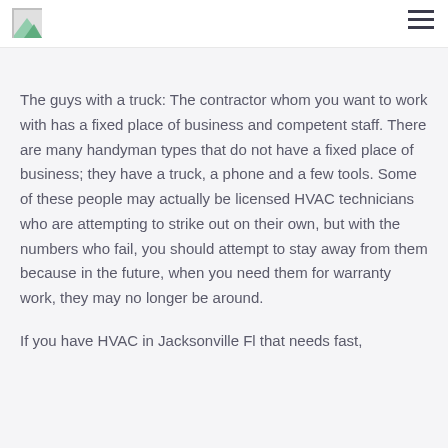The guys with a truck: The contractor whom you want to work with has a fixed place of business and competent staff. There are many handyman types that do not have a fixed place of business; they have a truck, a phone and a few tools. Some of these people may actually be licensed HVAC technicians who are attempting to strike out on their own, but with the numbers who fail, you should attempt to stay away from them because in the future, when you need them for warranty work, they may no longer be around.
If you have HVAC in Jacksonville Fl that needs fast,